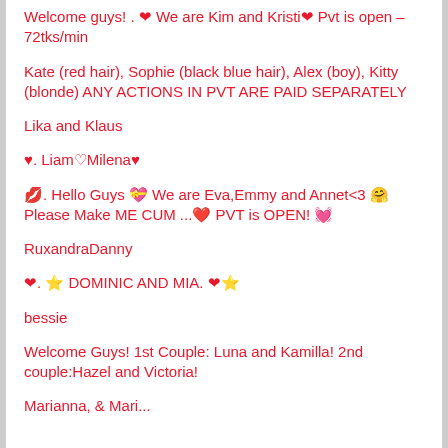Welcome guys! . ❤ We are Kim and Kristi❤ Pvt is open – 72tks/min
Kate (red hair), Sophie (black blue hair), Alex (boy), Kitty (blonde) ANY ACTIONS IN PVT ARE PAID SEPARATELY
Lika and Klaus
♥. Liam♡Milena♥
💋. Hello Guys 💝 We are Eva,Emmy and Annet<3 🤗 Please Make ME CUM ...❤️ PVT is OPEN! 💓
RuxandraDanny
❤. ⭐ DOMINIC AND MIA. ❤⭐
bessie
Welcome Guys! 1st Couple: Luna and Kamilla! 2nd couple:Hazel and Victoria!
Marianna, & Mari...